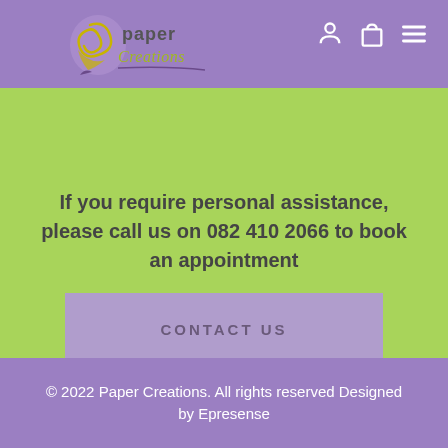[Figure (logo): Paper Creations logo with decorative swirl and gold/green text on purple background]
If you require personal assistance, please call us on 082 410 2066 to book an appointment
CONTACT US
© 2022 Paper Creations. All rights reserved Designed by Epresense